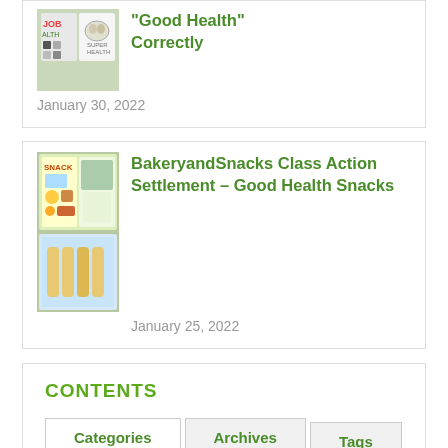[Figure (photo): Thumbnail image for Good Health article with health-related graphics]
“Good Health” Correctly
January 30, 2022
[Figure (photo): Thumbnail collage of snack foods including chips, popcorn, and vegetables for BakeryandSnacks article]
BakeryandSnacks Class Action Settlement – Good Health Snacks
January 25, 2022
CONTENTS
Categories | Archives | Tags
Alternative Medicine And Herbal (292)